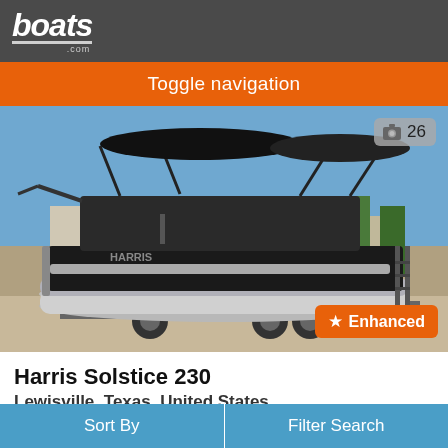boats.com
Toggle navigation
[Figure (photo): A black Harris Solstice 230 pontoon boat on a trailer in a parking lot. The boat has shiny aluminum pontoons, a black deck with wraparound seating, and a Bimini top. Background shows blue sky and commercial buildings. A photo count badge shows 26 in the top right corner. An 'Enhanced' badge with a star appears in the bottom right.]
Harris Solstice 230
Lewisville, Texas, United States
2021
Sort By    Filter Search